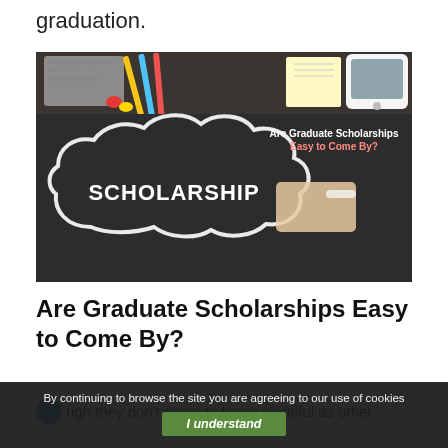graduation.
[Figure (photo): Chalkboard image with the word SCHOLARSHIP written inside a chalk-drawn cloud shape. A hand holding chalk is visible. Text overlay reads 'Are Graduate Scholarships Easy to Come By?' Desk items like pencils and clips are visible at the top.]
Are Graduate Scholarships Easy to Come By?
ough they don't seem to be as plentiful as other
By continuing to browse the site you are agreeing to our use of cookies
I understand